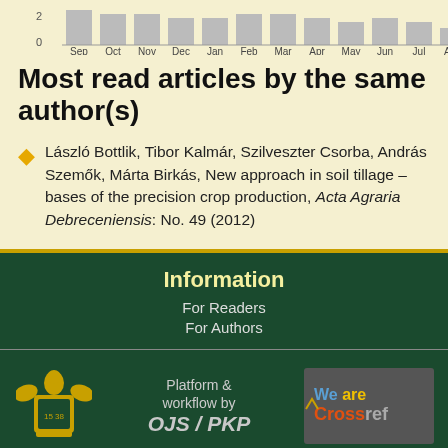[Figure (bar-chart): Monthly article reads]
Most read articles by the same author(s)
László Bottlik, Tibor Kalmár, Szilveszter Csorba, András Szemők, Márta Birkás, New approach in soil tillage – bases of the precision crop production, Acta Agraria Debreceniensis: No. 49 (2012)
Information
For Readers
For Authors
[Figure (logo): University coat of arms logo with eagle and shield, gold color]
Platform & workflow by OJS/PKP
[Figure (logo): We are Crossref logo badge]